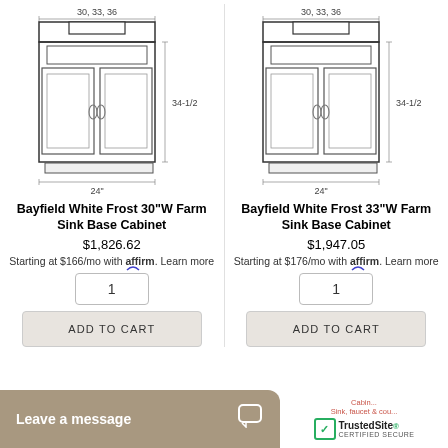[Figure (illustration): Line drawing of a base cabinet with dimensions: 30, 33, 36 (top width), 34-1/2 (height), 24" (depth)]
Bayfield White Frost 30"W Farm Sink Base Cabinet
$1,826.62
Starting at $166/mo with affirm. Learn more
1
ADD TO CART
[Figure (illustration): Line drawing of a base cabinet with dimensions: 30, 33, 36 (top width), 34-1/2 (height), 24" (depth)]
Bayfield White Frost 33"W Farm Sink Base Cabinet
$1,947.05
Starting at $176/mo with affirm. Learn more
1
ADD TO CART
Leave a message
[Figure (logo): TrustedSite CERTIFIED SECURE logo with green checkmark]